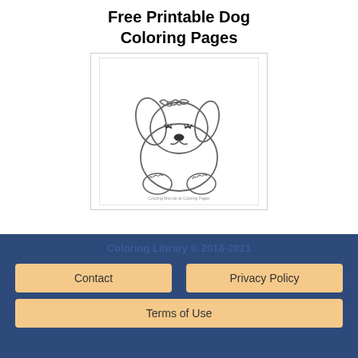Free Printable Dog Coloring Pages
[Figure (illustration): A cute cartoon puppy dog coloring page outline. The puppy has a bow on its head, floppy ears, closed eyes with long lashes, a round chubby body, and small paws. It appears to be sitting. There is small text at the bottom of the card that reads 'Coloring Mus be at Coloring Pages'. The image is inside a white card with a light border.]
Coloring Library © 2016-2021
Contact
Privacy Policy
Terms of Use